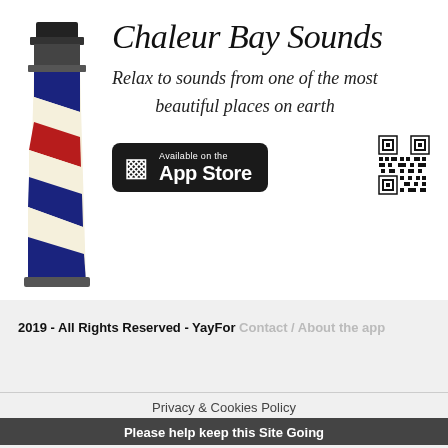[Figure (illustration): Lighthouse illustration with striped pattern in navy blue, red, and cream/white diagonal stripes, with a dark top cap]
Chaleur Bay Sounds
Relax to sounds from one of the most beautiful places on earth
[Figure (logo): App Store badge - Available on the App Store, black rounded rectangle badge with phone icon]
[Figure (other): QR code]
2019 - All Rights Reserved - YayFor
Privacy & Cookies Policy
Please help keep this Site Going